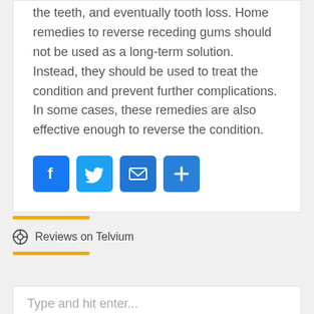the teeth, and eventually tooth loss. Home remedies to reverse receding gums should not be used as a long-term solution. Instead, they should be used to treat the condition and prevent further complications. In some cases, these remedies are also effective enough to reverse the condition.
[Figure (infographic): Social sharing buttons: Facebook (blue), Twitter (light blue), Email (blue), Add/Share (blue)]
Reviews on Telvium
Type and hit enter...